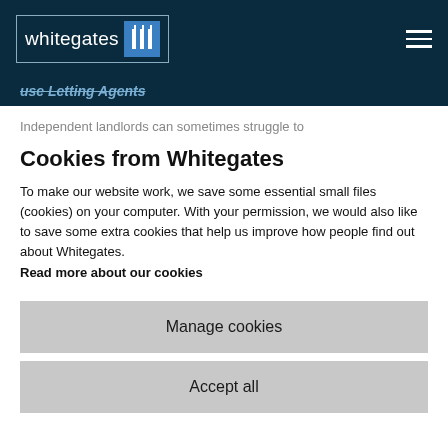whitegates
use Letting Agents
Independent landlords can sometimes struggle to
Cookies from Whitegates
To make our website work, we save some essential small files (cookies) on your computer. With your permission, we would also like to save some extra cookies that help us improve how people find out about Whitegates.
Read more about our cookies
Manage cookies
Accept all